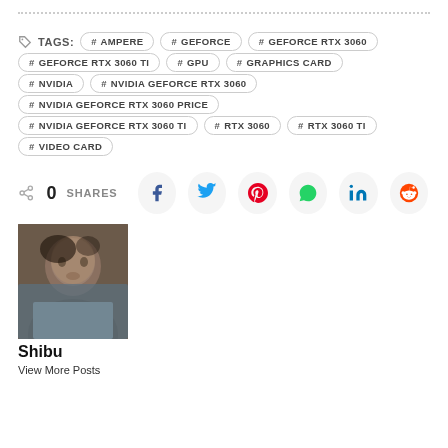TAGS: # AMPERE  # GEFORCE  # GEFORCE RTX 3060  # GEFORCE RTX 3060 TI  # GPU  # GRAPHICS CARD  # NVIDIA  # NVIDIA GEFORCE RTX 3060  # NVIDIA GEFORCE RTX 3060 PRICE  # NVIDIA GEFORCE RTX 3060 TI  # RTX 3060  # RTX 3060 TI  # VIDEO CARD
0 SHARES
[Figure (other): Author profile photo of Shibu]
Shibu
View More Posts